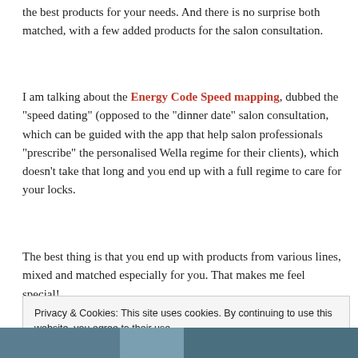the best products for your needs. And there is no surprise both matched, with a few added products for the salon consultation.
I am talking about the Energy Code Speed mapping, dubbed the “speed dating” (opposed to the “dinner date” salon consultation, which can be guided with the app that help salon professionals “prescribe” the personalised Wella regime for their clients), which doesn’t take that long and you end up with a full regime to care for your locks.
The best thing is that you end up with products from various lines, mixed and matched especially for you. That makes me feel special!
Privacy & Cookies: This site uses cookies. By continuing to use this website, you agree to their use.
To find out more, including how to control cookies, see here: Cookie Policy
Close and accept
[Figure (photo): Partial photo visible at bottom of page]